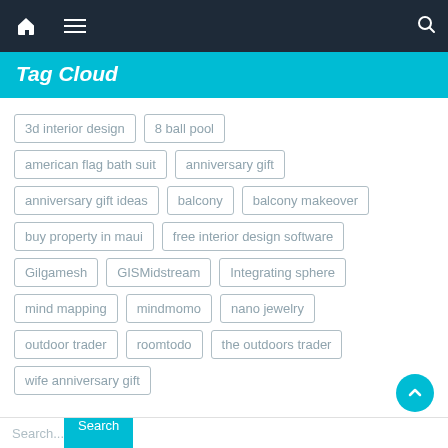Tag Cloud
3d interior design
8 ball pool
american flag bath suit
anniversary gift
anniversary gift ideas
balcony
balcony makeover
buy property in maui
free interior design software
Gilgamesh
GISMidstream
Integrating sphere
mind mapping
mindmomo
nano jewelry
outdoor trader
roomtodo
the outdoors trader
wife anniversary gift